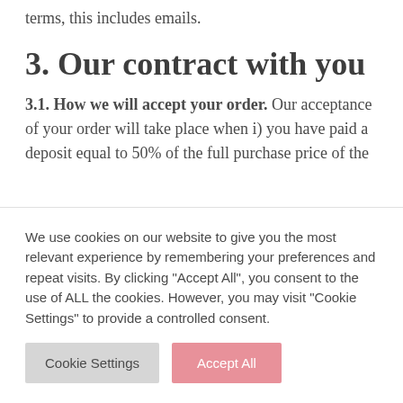terms, this includes emails.
3. Our contract with you
3.1. How we will accept your order. Our acceptance of your order will take place when i) you have paid a deposit equal to 50% of the full purchase price of the
We use cookies on our website to give you the most relevant experience by remembering your preferences and repeat visits. By clicking "Accept All", you consent to the use of ALL the cookies. However, you may visit "Cookie Settings" to provide a controlled consent.